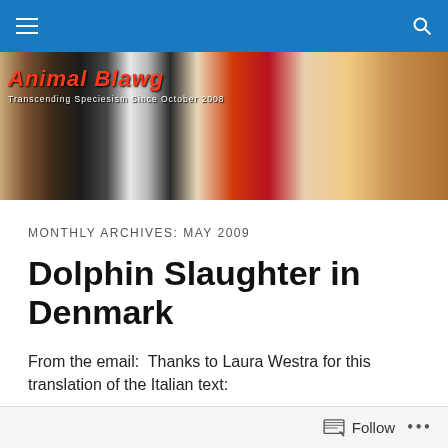Navigation bar with hamburger menu and search icon
[Figure (illustration): Animal Blawg website banner showing multiple animals: a longhorn skull, a moose, a dairy cow with target markings, raw fish/meat, and a lion behind bars. Red text reads 'Animal Blawg' with subtitle 'Transcending Speciesism Since October 2008'.]
MONTHLY ARCHIVES: MAY 2009
Dolphin Slaughter in Denmark
From the email:  Thanks to Laura Westra for this translation of the Italian text:
SHAME!  It is Incredible that it should exist! what todo? other than report it and offer those images as far as
Follow ...